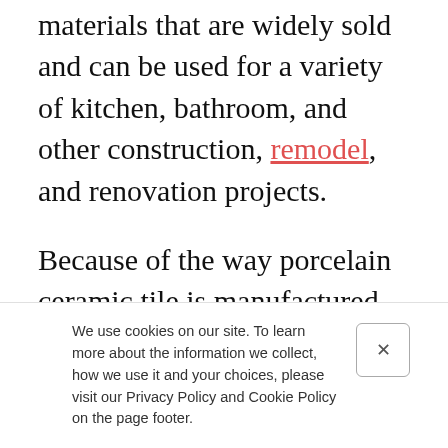materials that are widely sold and can be used for a variety of kitchen, bathroom, and other construction, remodel, and renovation projects.
Because of the way porcelain ceramic tile is manufactured and the wide range of control that manufacturers have over its appearance, it can be made to fit a range of designs and styles. Manufacturers have control over how veiny or grainy the appearance of the tiles are, as well as their color. They can be made to mimic other natural materials, such as
We use cookies on our site. To learn more about the information we collect, how we use it and your choices, please visit our Privacy Policy and Cookie Policy on the page footer.